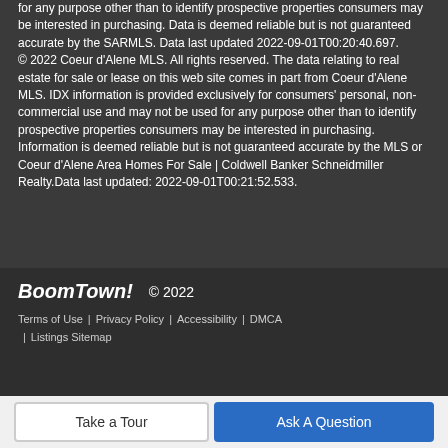for any purpose other than to identify prospective properties consumers may be interested in purchasing. Data is deemed reliable but is not guaranteed accurate by the SARMLS. Data last updated 2022-09-01T00:20:40.697. © 2022 Coeur d'Alene MLS. All rights reserved. The data relating to real estate for sale or lease on this web site comes in part from Coeur d'Alene MLS. IDX information is provided exclusively for consumers' personal, non-commercial use and may not be used for any purpose other than to identify prospective properties consumers may be interested in purchasing. Information is deemed reliable but is not guaranteed accurate by the MLS or Coeur d'Alene Area Homes For Sale | Coldwell Banker Schneidmiller Realty.Data last updated: 2022-09-01T00:21:52.533.
BoomTown! © 2022
Terms of Use | Privacy Policy | Accessibility | DMCA | Listings Sitemap
Take a Tour   Ask A Question